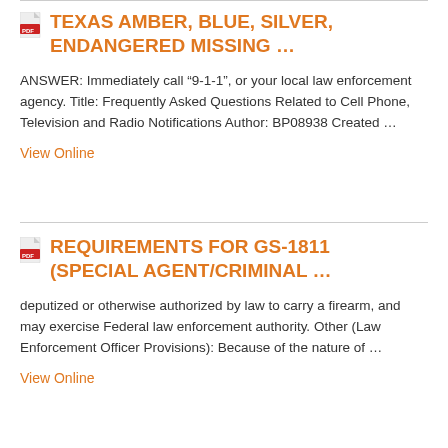TEXAS AMBER, BLUE, SILVER, ENDANGERED MISSING ...
ANSWER: Immediately call “9-1-1”, or your local law enforcement agency. Title: Frequently Asked Questions Related to Cell Phone, Television and Radio Notifications Author: BP08938 Created …
View Online
REQUIREMENTS FOR GS-1811 (SPECIAL AGENT/CRIMINAL ...
deputized or otherwise authorized by law to carry a firearm, and may exercise Federal law enforcement authority. Other (Law Enforcement Officer Provisions): Because of the nature of …
View Online